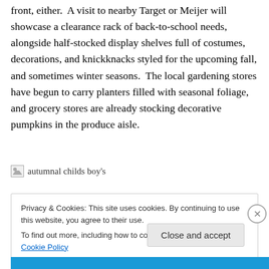front, either.  A visit to nearby Target or Meijer will showcase a clearance rack of back-to-school needs, alongside half-stocked display shelves full of costumes, decorations, and knickknacks styled for the upcoming fall, and sometimes winter seasons.  The local gardening stores have begun to carry planters filled with seasonal foliage, and grocery stores are already stocking decorative pumpkins in the produce aisle.
[Figure (photo): Broken image placeholder labeled 'autumnal childs boy's']
Privacy & Cookies: This site uses cookies. By continuing to use this website, you agree to their use.
To find out more, including how to control cookies, see here: Cookie Policy